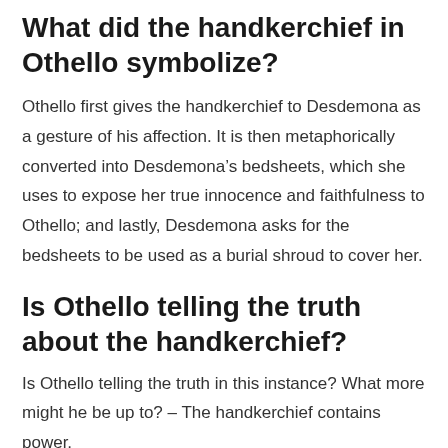What did the handkerchief in Othello symbolize?
Othello first gives the handkerchief to Desdemona as a gesture of his affection. It is then metaphorically converted into Desdemona’s bedsheets, which she uses to expose her true innocence and faithfulness to Othello; and lastly, Desdemona asks for the bedsheets to be used as a burial shroud to cover her.
Is Othello telling the truth about the handkerchief?
Is Othello telling the truth in this instance? What more might he be up to? – The handkerchief contains power,